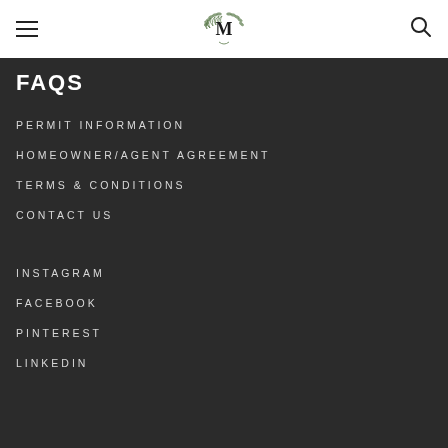M (logo with wreath)
FAQS
PERMIT INFORMATION
HOMEOWNER/AGENT AGREEMENT
TERMS & CONDITIONS
CONTACT US
INSTAGRAM
FACEBOOK
PINTEREST
LINKEDIN